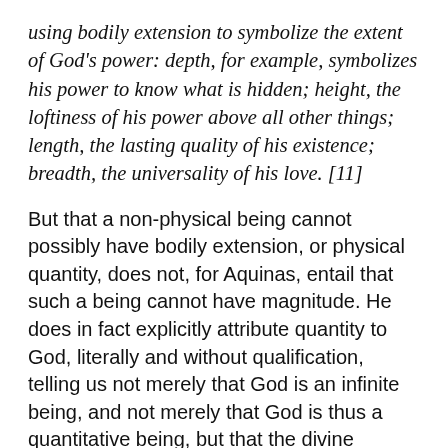using bodily extension to symbolize the extent of God's power: depth, for example, symbolizes his power to know what is hidden; height, the loftiness of his power above all other things; length, the lasting quality of his existence; breadth, the universality of his love. [11]
But that a non-physical being cannot possibly have bodily extension, or physical quantity, does not, for Aquinas, entail that such a being cannot have magnitude. He does in fact explicitly attribute quantity to God, literally and without qualification, telling us not merely that God is an infinite being, and not merely that God is thus a quantitative being, but that the divine essence and the divine quantity are identical. He puts it as follows, speaking of the quantity which he thought that the three persons of the Trinity in which he believed had in common: